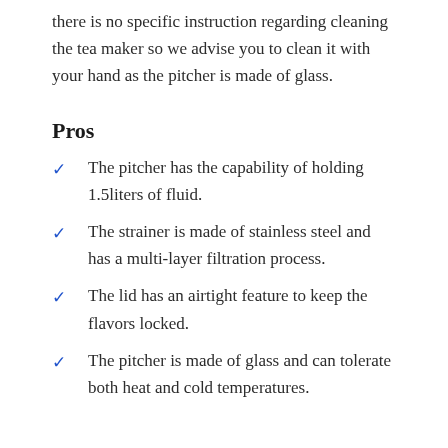there is no specific instruction regarding cleaning the tea maker so we advise you to clean it with your hand as the pitcher is made of glass.
Pros
The pitcher has the capability of holding 1.5liters of fluid.
The strainer is made of stainless steel and has a multi-layer filtration process.
The lid has an airtight feature to keep the flavors locked.
The pitcher is made of glass and can tolerate both heat and cold temperatures.